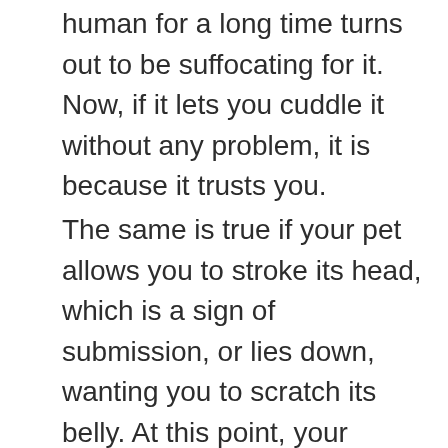human for a long time turns out to be suffocating for it. Now, if it lets you cuddle it without any problem, it is because it trusts you.
The same is true if your pet allows you to stroke its head, which is a sign of submission, or lies down, wanting you to scratch its belly. At this point, your Chow Chow is vulnerable, but it will not care because it fully trusts that you would never hurt it.